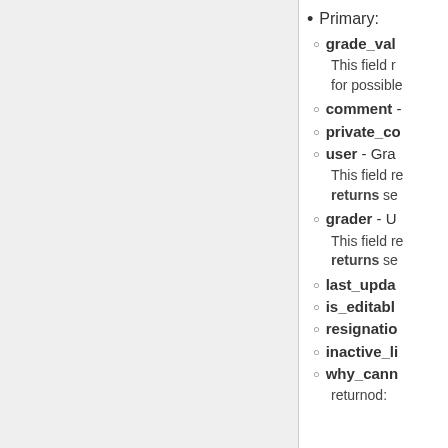Primary:
grade_val
This field re for possible
comment -
private_co
user - Gra
This field re returns se
grader - U
This field re returns se
last_upda
is_editabl
resignatio
inactive_li
why_cann
returnod: